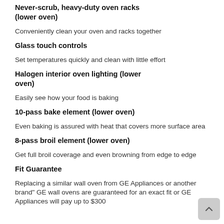Never-scrub, heavy-duty oven racks (lower oven)
Conveniently clean your oven and racks together
Glass touch controls
Set temperatures quickly and clean with little effort
Halogen interior oven lighting (lower oven)
Easily see how your food is baking
10-pass bake element (lower oven)
Even baking is assured with heat that covers more surface area
8-pass broil element (lower oven)
Get full broil coverage and even browning from edge to edge
Fit Guarantee
Replacing a similar wall oven from GE Appliances or another brand" GE wall ovens are guaranteed for an exact fit or GE Appliances will pay up to $300